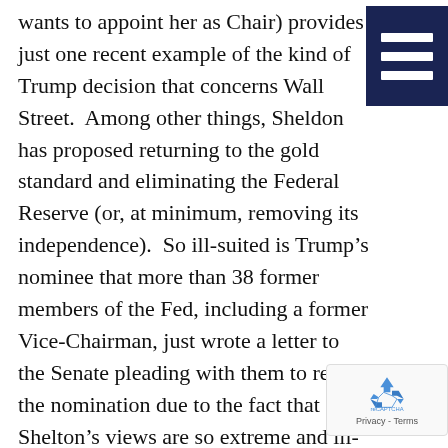wants to appoint her as Chair) provides just one recent example of the kind of Trump decision that concerns Wall Street.  Among other things, Sheldon has proposed returning to the gold standard and eliminating the Federal Reserve (or, at minimum, removing its independence).  So ill-suited is Trump’s nominee that more than 38 former members of the Fed, including a former Vice-Chairman, just wrote a letter to the Senate pleading with them to reject the nomination due to the fact that “Ms. Shelton’s views are so extreme and ill-considered as to be an unnecessary distraction from the tasks at hand”.
[Figure (other): Hamburger menu icon: dark navy square with three white horizontal bars]
[Figure (logo): reCAPTCHA badge with recycling-arrow logo in blue, Privacy - Terms text below]